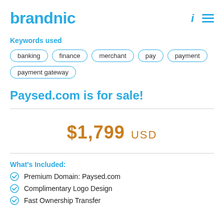brandnic
Keywords used
banking
finance
merchant
pay
payment
payment gateway
Paysed.com is for sale!
$1,799 USD
What's Included:
Premium Domain: Paysed.com
Complimentary Logo Design
Fast Ownership Transfer